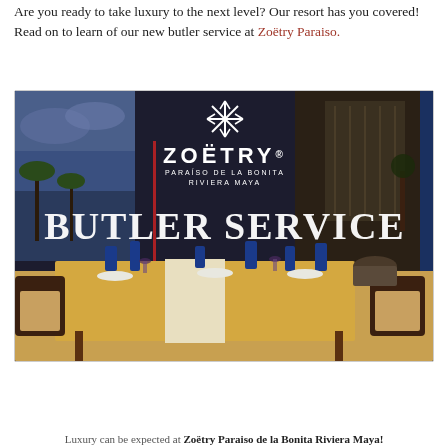Are you ready to take luxury to the next level? Our resort has you covered! Read on to learn of our new butler service at Zoëtry Paraiso.
[Figure (photo): Promotional image for Zoëtry Paraiso de la Bonita Riviera Maya Butler Service, showing a set dining table in an upscale resort room with blue glassware, ocean view in background, with large white text 'BUTLER SERVICE' overlaid and the Zoëtry logo above.]
Luxury can be expected at Zoëtry Paraiso de la Bonita Riviera Maya!